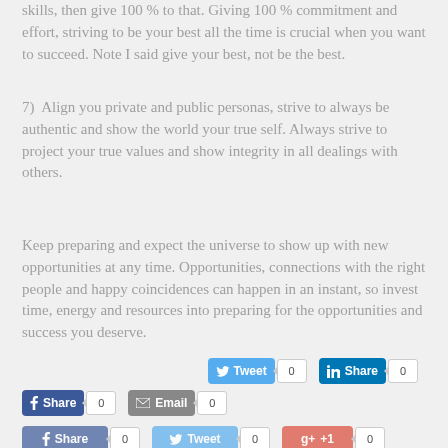skills, then give 100 % to that. Giving 100 % commitment and effort, striving to be your best all the time is crucial when you want to succeed. Note I said give your best, not be the best.
7)  Align you private and public personas, strive to always be authentic and show the world your true self. Always strive to project your true values and show integrity in all dealings with others.
Keep preparing and expect the universe to show up with new opportunities at any time. Opportunities, connections with the right people and happy coincidences can happen in an instant, so invest time, energy and resources into preparing for the opportunities and success you deserve.
[Figure (infographic): Social sharing buttons: Tweet (0), Share on LinkedIn (0), Share on Facebook (0), Email (0), and a second row with Share on Facebook (0), Tweet (0), Google +1 (0), Pin it (0), Email (0)]